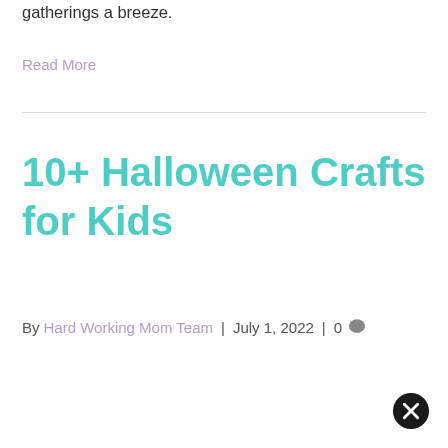gatherings a breeze.
Read More
10+ Halloween Crafts for Kids
By Hard Working Mom Team | July 1, 2022 | 0